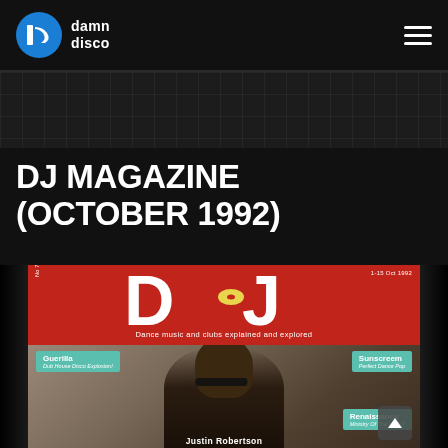damn disco
DJ MAGAZINE (OCTOBER 1992)
[Figure (photo): Scanned cover of DJ Magazine No 73, October 1-15 1992. Red masthead with large 'DJ' logo in white, subtitle 'Dance music and clubs explained and explored'. Cover features a man (Justin Robertson) wearing sunglasses. Callout bubbles: Guerilla – Dub House Disco Explosion!, Sunscreem – Perfect Dance Pop, Renaissance – Ministry Of The North?]